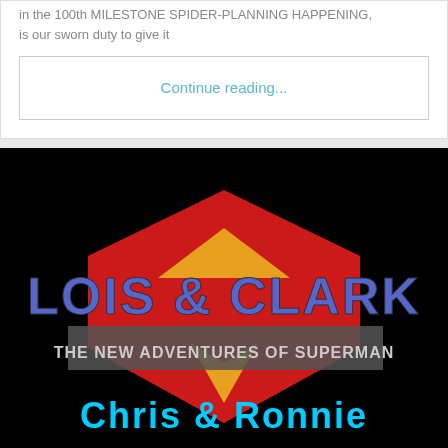in the 100th MILESTONE SPIDER-PLANNING HAPPENING, it is our sworn duty to give it
Continue reading...
[Figure (photo): Title card for 'Lois & Clark: The New Adventures of Superman' TV show on a black background, with 'Chris & Ronnie' written below in cyan text]